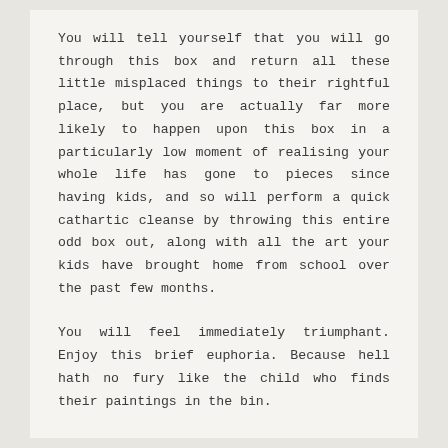You will tell yourself that you will go through this box and return all these little misplaced things to their rightful place, but you are actually far more likely to happen upon this box in a particularly low moment of realising your whole life has gone to pieces since having kids, and so will perform a quick cathartic cleanse by throwing this entire odd box out, along with all the art your kids have brought home from school over the past few months.
You will feel immediately triumphant. Enjoy this brief euphoria. Because hell hath no fury like the child who finds their paintings in the bin.